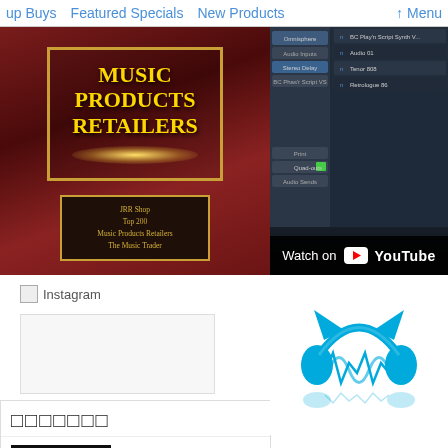up Buys   Featured Specials   New Products   ↑ Menu
[Figure (photo): Award plaque for Music Products Retailers - JRR Shop Top 200, The Music Trader]
[Figure (screenshot): DAW/music software interface with Watch on YouTube overlay]
[Figure (photo): Instagram broken image icon]
[Figure (photo): White placeholder box]
[Figure (logo): Blue Cat Audio headphone logo in cyan/blue]
□□□□□□□
[Figure (screenshot): Blue Cat Audio MB-5 Dynamix product thumbnail]
Blue Cat Audio MB-5 Dynamix
$149.00
[Figure (screenshot): Blue Cat Audio MB-7 Mixer product thumbnail]
Blue Cat Audio MB-7 Mixer
$129.00